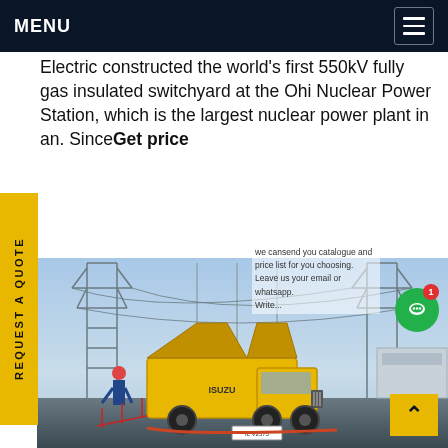MENU
Electric constructed the world's first 550kV fully gas insulated switchyard at the Ohi Nuclear Power Station, which is the largest nuclear power plant in an. SinceGet price
REQUEST A QUOTE
we cansend you catalogue and price list for you choosing. Leave us your email or whatsapp. Write...
[Figure (photo): A yellow Isuzu utility truck at an electrical substation with large transmission towers and power equipment in the background. Workers visible near the truck.]